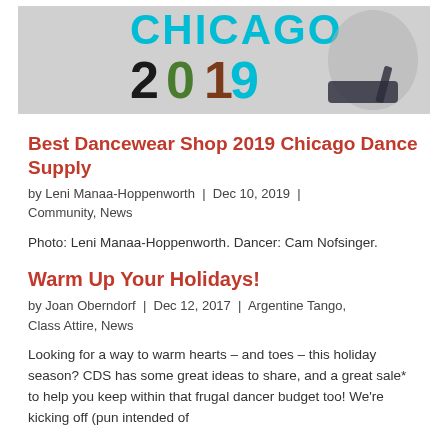[Figure (photo): Chicago Dance Supply 2019 banner with colorful lettering and a dancer in high heels]
Best Dancewear Shop 2019 Chicago Dance Supply
by Leni Manaa-Hoppenworth | Dec 10, 2019 | Community, News
Photo: Leni Manaa-Hoppenworth. Dancer: Cam Nofsinger.
Warm Up Your Holidays!
by Joan Oberndorf | Dec 12, 2017 | Argentine Tango, Class Attire, News
Looking for a way to warm hearts – and toes – this holiday season? CDS has some great ideas to share, and a great sale* to help you keep within that frugal dancer budget too! We're kicking off (pun intended of